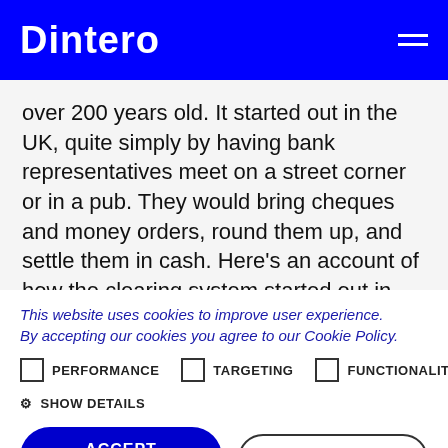Dintero
over 200 years old. It started out in the UK, quite simply by having bank representatives meet on a street corner or in a pub. They would bring cheques and money orders, round them up, and settle them in cash. Here’s an account of how the clearing system started out in Norway in the 1800s:
This website uses cookies to improve user experience. By accepting our cookies you agree to our Cookie Policy.
PERFORMANCE
TARGETING
FUNCTIONALITY
SHOW DETAILS
ACCEPT COOKIES
DECLINE ALL